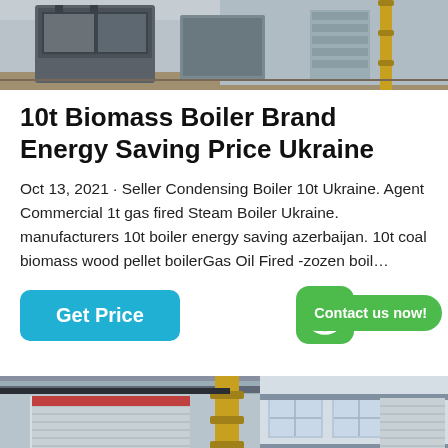[Figure (photo): Industrial boiler/factory interior photo — equipment and machinery visible]
10t Biomass Boiler Brand Energy Saving Price Ukraine
Oct 13, 2021 · Seller Condensing Boiler 10t Ukraine. Agent Commercial 1t gas fired Steam Boiler Ukraine. manufacturers 10t boiler energy saving azerbaijan. 10t coal biomass wood pellet boilerGas Oil Fired -zozen boil…
[Figure (other): Get Price button (teal/cyan rounded rectangle) and WhatsApp icon with green Contact us now! speech bubble]
[Figure (photo): Industrial boiler factory interior — large insulated cylindrical vessels, yellow pipe, signage with Chinese characters]